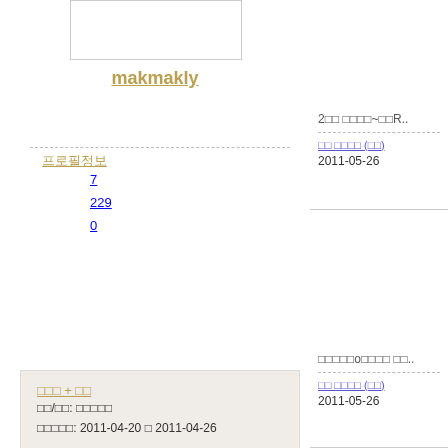[Figure (photo): Profile image placeholder box]
makmakly
프로필정보
7
229
0
□□□ + □□
□□/□□: □□□□□
□□□□□: 2011-04-20 □ 2011-04-26
2□□ □□□□~□□R..
□□ □□□□ (□□)
2011-05-26
[Figure (photo): Image placeholder]
□□□□□o□□□□ □□..
□□ □□□□ (□□)
2011-05-26